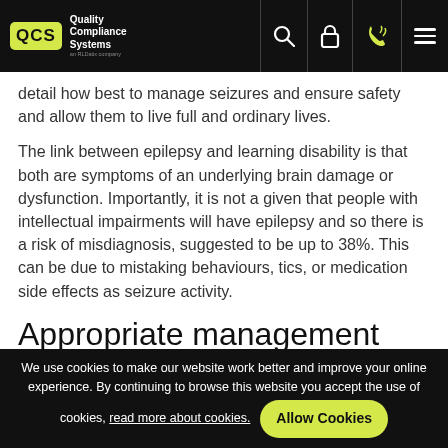QCS Quality Compliance Systems an RLDatix company
detail how best to manage seizures and ensure safety and allow them to live full and ordinary lives.
The link between epilepsy and learning disability is that both are symptoms of an underlying brain damage or dysfunction. Importantly, it is not a given that people with intellectual impairments will have epilepsy and so there is a risk of misdiagnosis, suggested to be up to 38%. This can be due to mistaking behaviours, tics, or medication side effects as seizure activity.
Appropriate management
We use cookies to make our website work better and improve your online experience. By continuing to browse this website you accept the use of cookies, read more about cookies. Allow Cookies